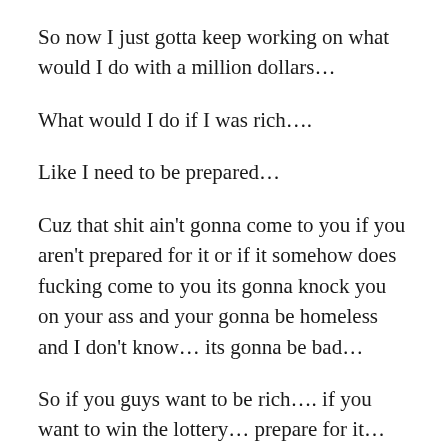So now I just gotta keep working on what would I do with a million dollars…
What would I do if I was rich….
Like I need to be prepared…
Cuz that shit ain't gonna come to you if you aren't prepared for it or if it somehow does fucking come to you its gonna knock you on your ass and your gonna be homeless and I don't know… its gonna be bad…
So if you guys want to be rich…. if you want to win the lottery… prepare for it… Figure out what your day would be like… what would you